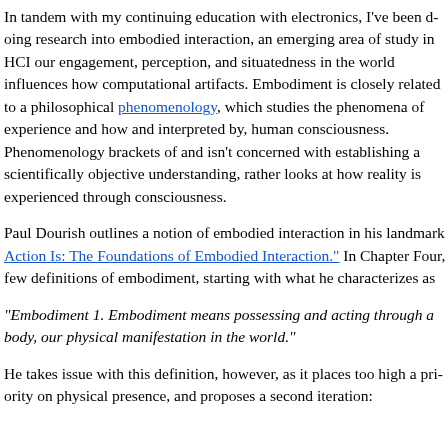In tandem with my continuing education with electronics, I've been doing research into embodied interaction, an emerging area of study in HCI that our engagement, perception, and situatedness in the world influences how computational artifacts. Embodiment is closely related to a philosophical phenomenology, which studies the phenomena of experience and how and interpreted by, human consciousness. Phenomenology brackets of and isn't concerned with establishing a scientifically objective understanding, but rather looks at how reality is experienced through consciousness.
Paul Dourish outlines a notion of embodied interaction in his landmark Where the Action Is: The Foundations of Embodied Interaction." In Chapter Four, he offers a few definitions of embodiment, starting with what he characterizes as
"Embodiment 1. Embodiment means possessing and acting through a body, our physical manifestation in the world."
He takes issue with this definition, however, as it places too high a priority on physical presence, and proposes a second iteration: